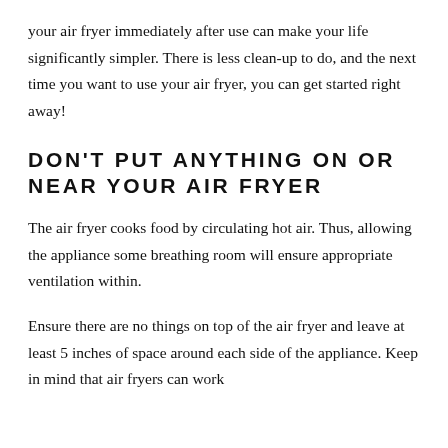your air fryer immediately after use can make your life significantly simpler. There is less clean-up to do, and the next time you want to use your air fryer, you can get started right away!
DON'T PUT ANYTHING ON OR NEAR YOUR AIR FRYER
The air fryer cooks food by circulating hot air. Thus, allowing the appliance some breathing room will ensure appropriate ventilation within.
Ensure there are no things on top of the air fryer and leave at least 5 inches of space around each side of the appliance. Keep in mind that air fryers can work